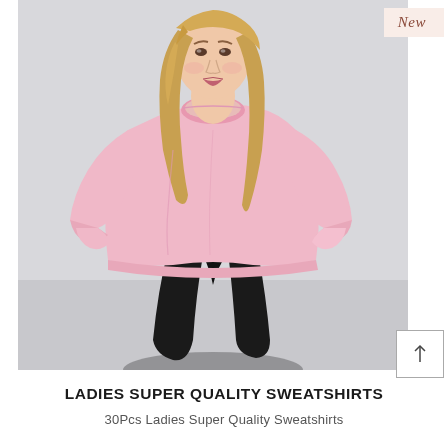[Figure (photo): A woman wearing a light pink oversized crew-neck sweatshirt and black leggings, standing against a light grey background. She has long blonde wavy hair and is posing with one hand tucked slightly at her side. A 'New' badge appears in the top right corner of the image.]
LADIES SUPER QUALITY SWEATSHIRTS
30Pcs Ladies Super Quality Sweatshirts